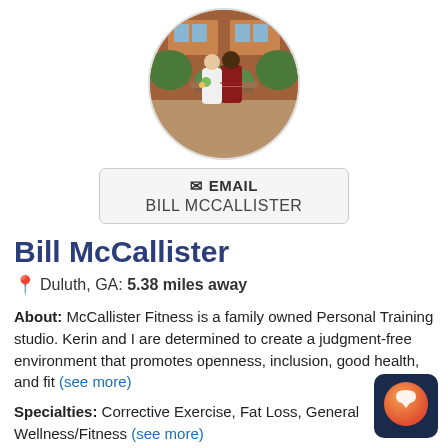[Figure (photo): Circular profile photo of a couple in wedding attire in front of a brick building with greenery]
[Figure (other): Email button with envelope icon reading EMAIL / BILL MCCALLISTER]
Bill McCallister
Duluth, GA: 5.38 miles away
About: McCallister Fitness is a family owned Personal Training studio. Kerin and I are determined to create a judgment-free environment that promotes openness, inclusion, good health, and fit (see more)
Specialties: Corrective Exercise, Fat Loss, General Wellness/Fitness (see more)
Other Locations Serviced: 30096
Pricing: